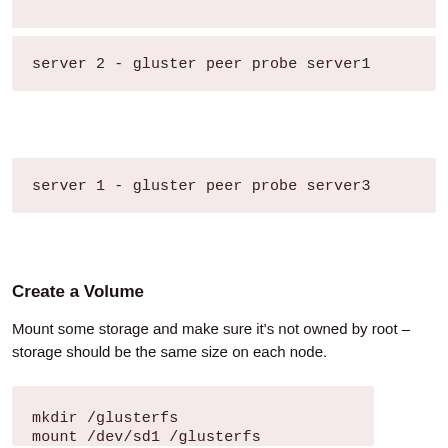server 2 - gluster peer probe server1
server 1 - gluster peer probe server3
Create a Volume
Mount some storage and make sure it's not owned by root – storage should be the same size on each node.
mkdir /glusterfs
mount /dev/sd1 /glusterfs